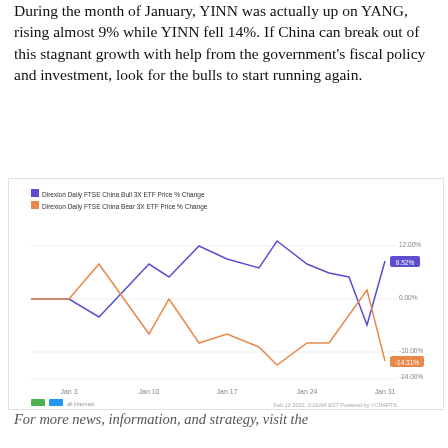During the month of January, YINN was actually up on YANG, rising almost 9% while YINN fell 14%. If China can break out of this stagnant growth with help from the government's fiscal policy and investment, look for the bulls to start running again.
[Figure (line-chart): ]
For more news, information, and strategy, visit the